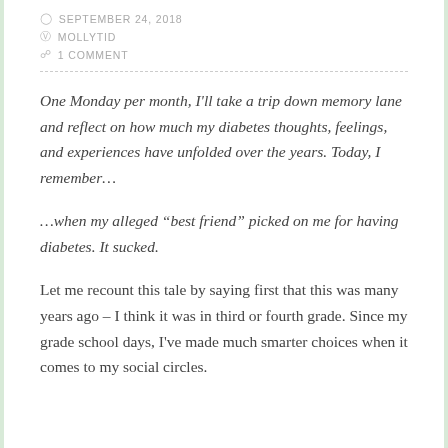SEPTEMBER 24, 2018
MOLLYTID
1 COMMENT
One Monday per month, I'll take a trip down memory lane and reflect on how much my diabetes thoughts, feelings, and experiences have unfolded over the years. Today, I remember…
…when my alleged “best friend” picked on me for having diabetes. It sucked.
Let me recount this tale by saying first that this was many years ago – I think it was in third or fourth grade. Since my grade school days, I've made much smarter choices when it comes to my social circles.